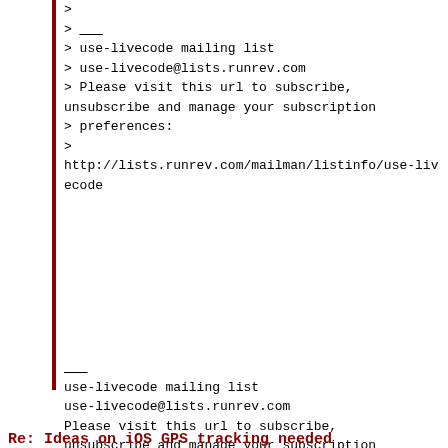>
> ___
> use-livecode mailing list
> use-livecode@lists.runrev.com
> Please visit this url to subscribe, unsubscribe and manage your subscription
> preferences:
>
http://lists.runrev.com/mailman/listinfo/use-livecode
___
use-livecode mailing list
use-livecode@lists.runrev.com
Please visit this url to subscribe, unsubscribe and manage your subscription preferences:
http://lists.runrev.com/mailman/listinfo/use-livecode
Re: Ideas on iOS GPS tracking needed